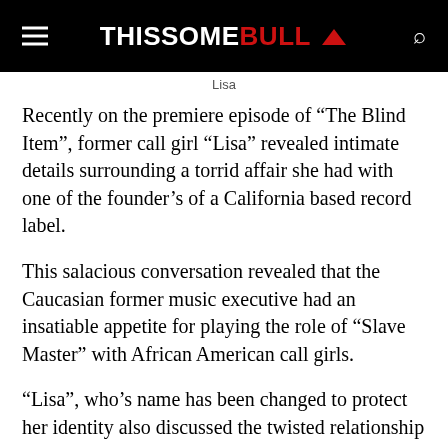THISSOME BULL
Lisa
Recently on the premiere episode of “The Blind Item”, former call girl “Lisa” revealed intimate details surrounding a torrid affair she had with one of the founder’s of a California based record label.
This salacious conversation revealed that the Caucasian former music executive had an insatiable appetite for playing the role of “Slave Master” with African American call girls.
“Lisa”, who’s name has been changed to protect her identity also discussed the twisted relationship that the music executive had with